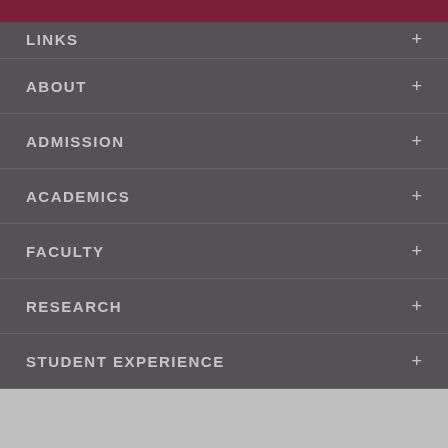LINKS
ABOUT
ADMISSION
ACADEMICS
FACULTY
RESEARCH
STUDENT EXPERIENCE